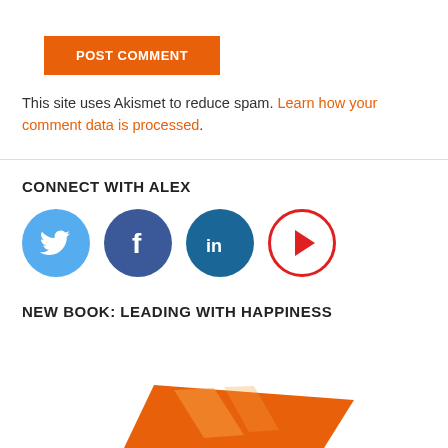POST COMMENT
This site uses Akismet to reduce spam. Learn how your comment data is processed.
CONNECT WITH ALEX
[Figure (illustration): Four social media icons in a row: Twitter (blue circle with bird), Facebook (dark blue circle with f), LinkedIn (blue circle with in), YouTube (white circle with red border and play button)]
NEW BOOK: LEADING WITH HAPPINESS
[Figure (illustration): Partial view of an orange book cover at the bottom of the page]